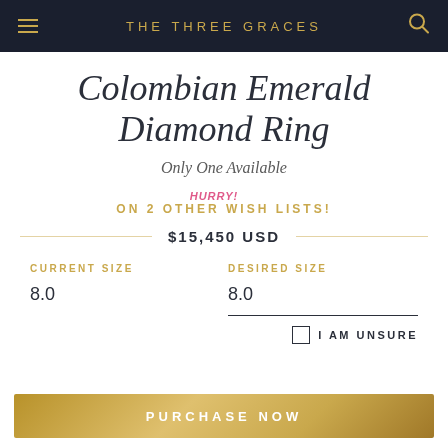THE THREE GRACES
Colombian Emerald Diamond Ring
Only One Available
HURRY! ON 2 OTHER WISH LISTS!
$15,450 USD
CURRENT SIZE 8.0
DESIRED SIZE 8.0
I AM UNSURE
PURCHASE NOW